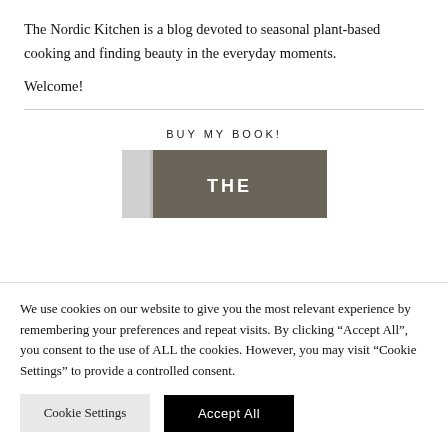The Nordic Kitchen is a blog devoted to seasonal plant-based cooking and finding beauty in the everyday moments.
Welcome!
BUY MY BOOK!
[Figure (photo): Partial view of a book cover with dark brownish-gray background and the text 'THE' visible, alongside a lighter spine strip.]
We use cookies on our website to give you the most relevant experience by remembering your preferences and repeat visits. By clicking “Accept All”, you consent to the use of ALL the cookies. However, you may visit “Cookie Settings” to provide a controlled consent.
Cookie Settings | Accept All